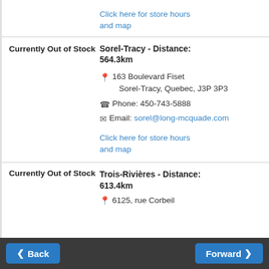Click here for store hours and map
Currently Out of Stock
Sorel-Tracy - Distance: 564.3km
163 Boulevard Fiset
Sorel-Tracy, Quebec, J3P 3P3
Phone: 450-743-5888
Email: sorel@long-mcquade.com
Click here for store hours and map
Currently Out of Stock
Trois-Rivières - Distance: 613.4km
6125, rue Corbeil
Back  Forward